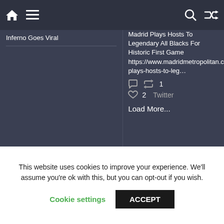Navigation bar with home, menu, search, and shuffle icons
Inferno Goes Viral
Madrid Plays Hosts To Legendary All Blacks For Historic First Game https://www.madridmetropolitan.com/madrid-plays-hosts-to-leg...
retweet 1  like 2  Twitter
Load More...
This website uses cookies to improve your experience. We'll assume you're ok with this, but you can opt-out if you wish. Cookie settings  ACCEPT